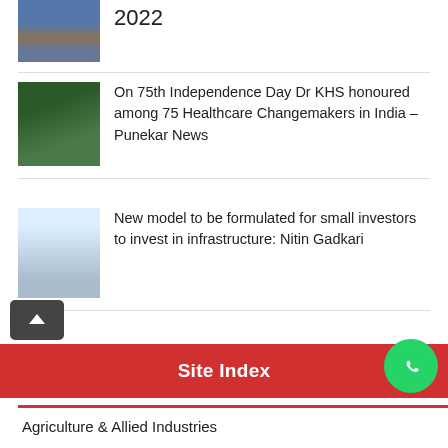[Figure (photo): Port/cargo handling facility photo with cranes and containers, with year 2022 text beside it]
2022
[Figure (photo): Portrait photo of Dr KHS, an elderly man smiling against green foliage background]
On 75th Independence Day Dr KHS honoured among 75 Healthcare Changemakers in India – Punekar News
[Figure (photo): Photo of Nitin Gadkari speaking at a podium with FICCI banners in background]
New model to be formulated for small investors to invest in infrastructure: Nitin Gadkari
Site Index
Agriculture & Allied Industries